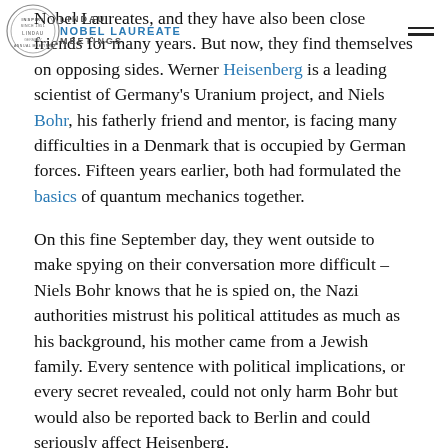LINDAU NOBEL LAUREATE MEETINGS
Nobel Laureates, and they have also been close friends for many years. But now, they find themselves on opposing sides. Werner Heisenberg is a leading scientist of Germany's Uranium project, and Niels Bohr, his fatherly friend and mentor, is facing many difficulties in a Denmark that is occupied by German forces. Fifteen years earlier, both had formulated the basics of quantum mechanics together.

On this fine September day, they went outside to make spying on their conversation more difficult – Niels Bohr knows that he is spied on, the Nazi authorities mistrust his political attitudes as much as his background, his mother came from a Jewish family. Every sentence with political implications, or every secret revealed, could not only harm Bohr but would also be reported back to Berlin and could seriously affect Heisenberg.